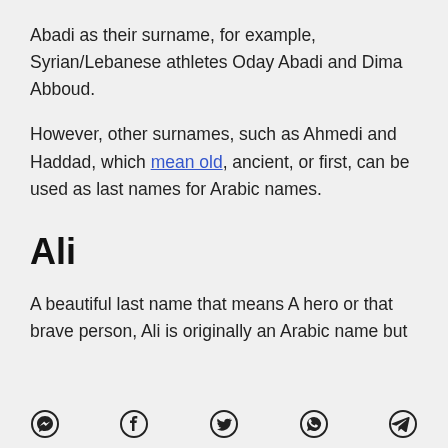Abadi as their surname, for example, Syrian/Lebanese athletes Oday Abadi and Dima Abboud.
However, other surnames, such as Ahmedi and Haddad, which mean old, ancient, or first, can be used as last names for Arabic names.
Ali
A beautiful last name that means A hero or that brave person, Ali is originally an Arabic name but
social share icons: Messenger, Facebook, Twitter, WhatsApp, Telegram